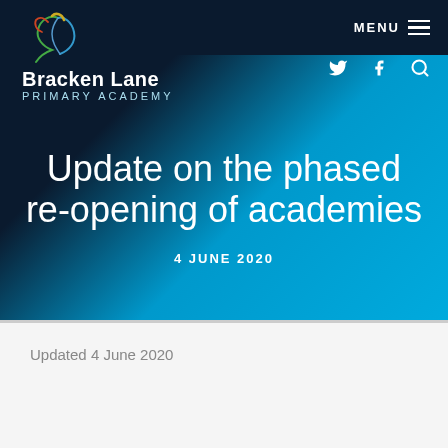[Figure (logo): Bracken Lane Primary Academy logo with colorful bird/horse head outline and school name]
MENU
Update on the phased re-opening of academies
4 JUNE 2020
Updated 4 June 2020